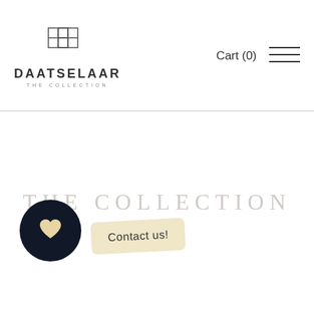[Figure (logo): Daatselaar The Collection logo with geometric square icon and brand name]
Cart (0)
[Figure (illustration): Hamburger menu icon with three horizontal lines]
THE COLLECTION
[Figure (illustration): Dark circular button with heart icon]
Contact us!